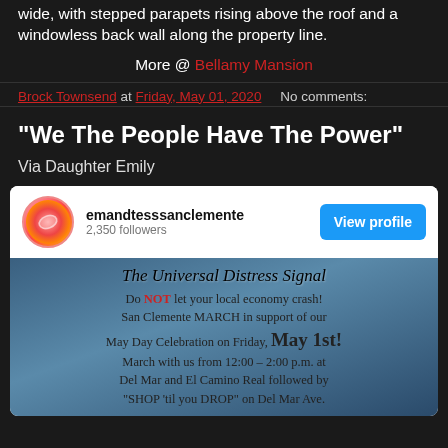wide, with stepped parapets rising above the roof and a windowless back wall along the property line.
More @ Bellamy Mansion
Brock Townsend at Friday, May 01, 2020    No comments:
"We The People Have The Power"
Via Daughter Emily
[Figure (screenshot): Instagram profile card for emandtesssanclemente with 2,350 followers and a View profile button, followed by an image about The Universal Distress Signal promoting a San Clemente MARCH for May Day Celebration on Friday May 1st, marching from 12:00-2:00 p.m. at Del Mar and El Camino Real followed by SHOP til you DROP on Del Mar Ave.]